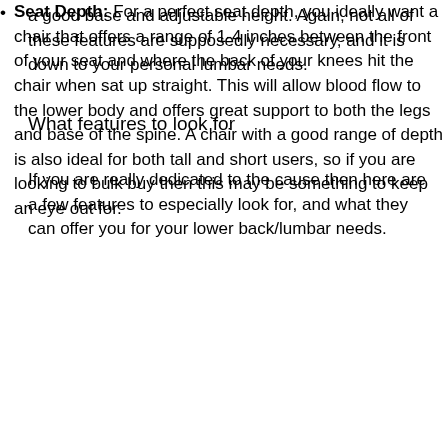a good base and adjustable height. Again, not all of these features are supposedly necessary, and it is down to your personal lumbar needs.
What features to look for
If you are really dedicated to the cause then here are a few features to especially look for, and what they can offer you for your lower back/lumbar needs.
Seat Depth: For a perfect seat depth, you ideally want a chair that offers a range of 1-4 inches between the front of your seat and where the back of your knees hit the chair when sat up straight. This will allow blood flow to the lower body and offers great support to both the legs and base of the spine. A chair with a good range of depth is also ideal for both tall and short users, so if you are looking to bulk buy then this may be something to keep an eye out for.